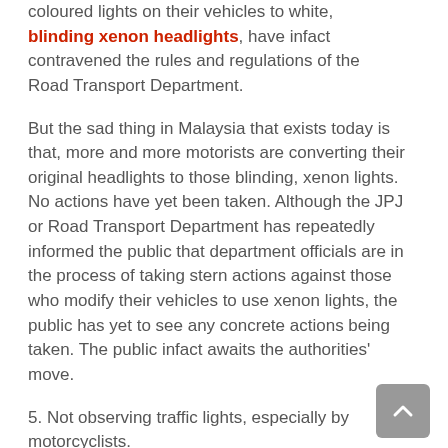coloured lights on their vehicles to white, blinding xenon headlights, have infact contravened the rules and regulations of the Road Transport Department.
But the sad thing in Malaysia that exists today is that, more and more motorists are converting their original headlights to those blinding, xenon lights. No actions have yet been taken. Although the JPJ or Road Transport Department has repeatedly informed the public that department officials are in the process of taking stern actions against those who modify their vehicles to use xenon lights, the public has yet to see any concrete actions being taken. The public infact awaits the authorities' move.
5. Not observing traffic lights, especially by motorcyclists.